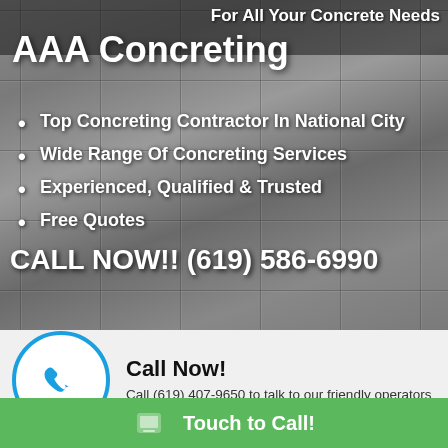[Figure (photo): Background photo of concrete paving tiles/slabs in grey tones]
For All Your Concrete Needs
AAA Concreting
Top Concreting Contractor In National City
Wide Range Of Concreting Services
Experienced, Qualified & Trusted
Free Quotes
CALL NOW!! (619) 586-6990
[Figure (illustration): Blue telephone handset icon inside a blue circle on white background]
Call Now!
Call (619) 407-9650 to talk to our friendly operators
Touch to Call!